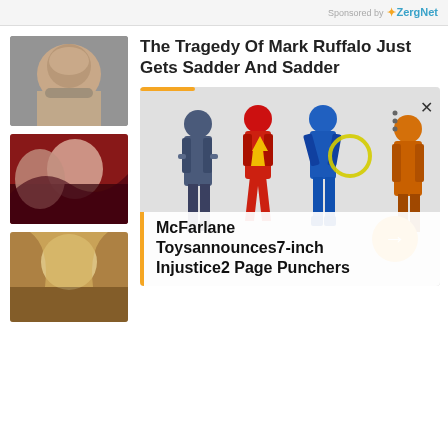Sponsored by ZergNet
The Tragedy Of Mark Ruffalo Just Gets Sadder And Sadder
[Figure (photo): Thumbnail photo of Mark Ruffalo, a middle-aged man with graying hair]
[Figure (photo): Thumbnail photo of a male wrestler or fighter with tattoos, shirtless]
[Figure (photo): Thumbnail photo of a young person with long blonde hair]
[Figure (photo): Advertisement card showing McFarlane Toys action figures (DC superheroes) in gray and blue outfits including the Flash]
McFarlane Toysannounces7-inch Injustice2 Page Punchers